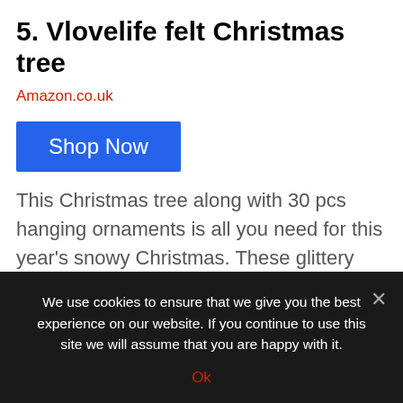5. Vlovelife felt Christmas tree
Amazon.co.uk
[Figure (other): Blue 'Shop Now' button]
This Christmas tree along with 30 pcs hanging ornaments is all you need for this year's snowy Christmas. These glittery and colorful hanging ornaments will make your Christmas colorful, memorable and will add a wonderful spark to your family too. And of course, your kids are going to love it. So you are going to love it since it the one...
We use cookies to ensure that we give you the best experience on our website. If you continue to use this site we will assume that you are happy with it.
Ok